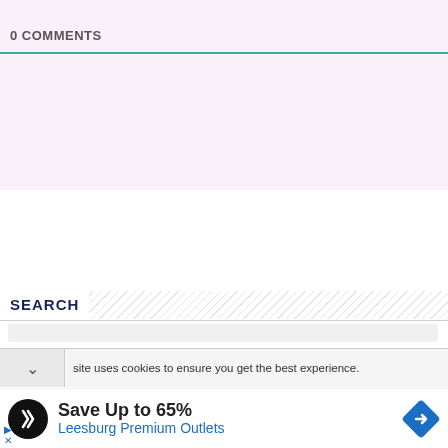0 COMMENTS
SEARCH
site uses cookies to ensure you get the best experience.
[Figure (infographic): Advertisement: Save Up to 65% at Leesburg Premium Outlets. Black circular logo with two overlapping chevron arrows, blue diamond navigation icon on right.]